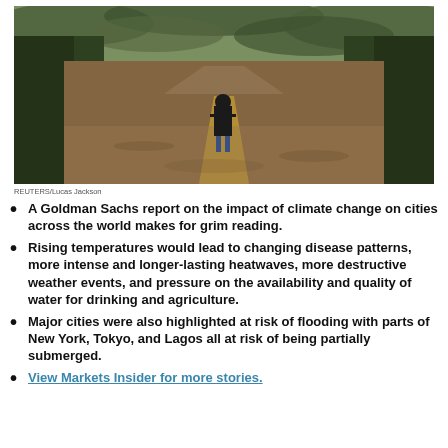[Figure (photo): A person walking along a flooded road with brown water on both sides and green trees lining the road in the background.]
REUTERS/Lucas Jackson
A Goldman Sachs report on the impact of climate change on cities across the world makes for grim reading.
Rising temperatures would lead to changing disease patterns, more intense and longer-lasting heatwaves, more destructive weather events, and pressure on the availability and quality of water for drinking and agriculture.
Major cities were also highlighted at risk of flooding with parts of New York, Tokyo, and Lagos all at risk of being partially submerged.
View Markets Insider for more stories.